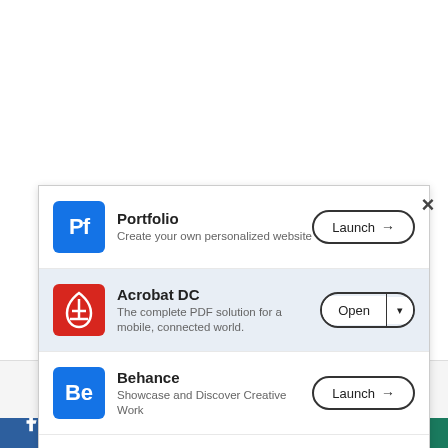[Figure (screenshot): Adobe Creative Cloud app panel showing Portfolio, Acrobat DC, Behance, and Dreamweaver CC with Launch/Open buttons. A cookie consent bar and social media icon bar are visible at the bottom.]
Portfolio — Create your own personalized website — Launch
Acrobat DC — The complete PDF solution for a mobile, connected world. — Open
Behance — Showcase and Discover Creative Work — Launch
Dreamweaver CC — Design and develop modern, responsive web sites — Open
This website uses cookies.
Accept